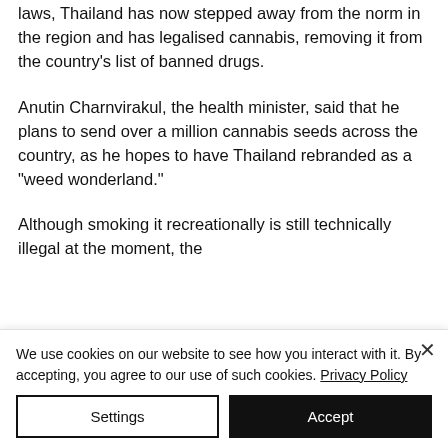laws, Thailand has now stepped away from the norm in the region and has legalised cannabis, removing it from the country's list of banned drugs.
Anutin Charnvirakul, the health minister, said that he plans to send over a million cannabis seeds across the country, as he hopes to have Thailand rebranded as a "weed wonderland."
Although smoking it recreationally is still technically illegal at the moment, the
We use cookies on our website to see how you interact with it. By accepting, you agree to our use of such cookies. Privacy Policy
Settings
Accept